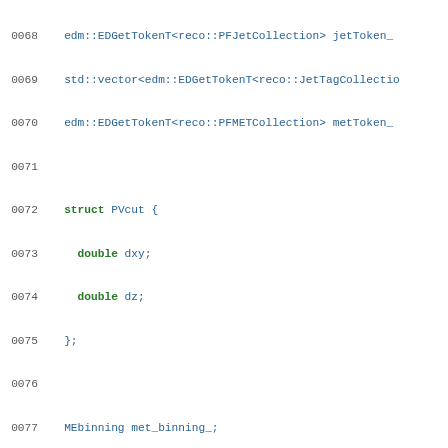Source code listing showing C++ class member declarations, lines 0068-0097
0068   edm::EDGetTokenT<reco::PFJetCollection> jetToken_
0069   std::vector<edm::EDGetTokenT<reco::JetTagCollectio
0070   edm::EDGetTokenT<reco::PFMETCollection> metToken_
0071
0072   struct PVcut {
0073     double dxy;
0074     double dz;
0075   };
0076
0077   MEbinning met_binning_;
0078   MEbinning ls_binning_;
0079   MEbinning phi_binning_;
0080   MEbinning pt_binning_;
0081   MEbinning eta_binning_;
0082   MEbinning HT_binning_;
0083   MEbinning DR_binning_;
0084   MEbinning csv_binning_;
0085   MEbinning invMass_mumu_binning_;
0086   MEbinning MHT_binning_;
0087
0088   std::vector<double> met_variable_binning_;
0089   std::vector<double> HT_variable_binning_;
0090   std::vector<double> jetPt_variable_binning_;
0091   std::vector<double> muPt_variable_binning_;
0092   std::vector<double> elePt_variable_binning_;
0093   std::vector<double> jetEta_variable_binning_;
0094   std::vector<double> muEta_variable_binning_;
0095   std::vector<double> eleEta_variable_binning_;
0096   std::vector<double> invMass_mumu_variable_binning_
0097   std::vector<double> MHT_variable_binning_;